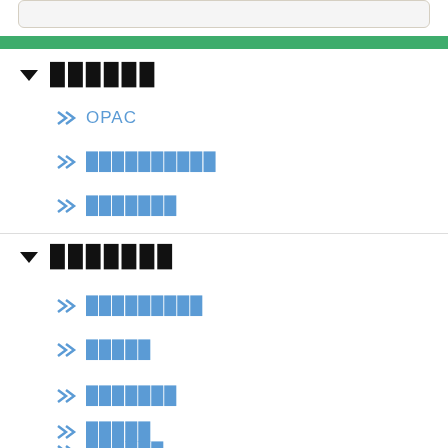[Figure (screenshot): Top rounded box element, light gray background]
▼ ██████
≫ OPAC
≫ ██████████
≫ ███████
▼ ███████
≫ █████████
≫ █████
≫ ███████
≫ █████
≫ ██████